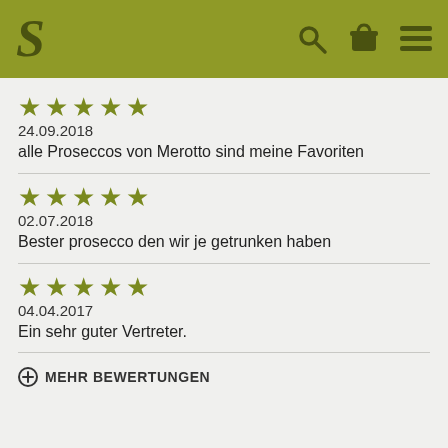S [logo with search, cart, menu icons]
★★★★★ 24.09.2018 alle Proseccos von Merotto sind meine Favoriten
★★★★★ 02.07.2018 Bester prosecco den wir je getrunken haben
★★★★★ 04.04.2017 Ein sehr guter Vertreter.
⊕ MEHR BEWERTUNGEN